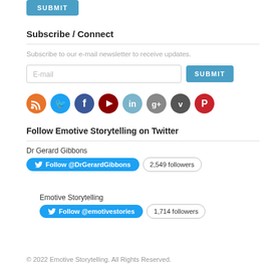[Figure (screenshot): Blue SUBMIT button at top]
Subscribe / Connect
Subscribe to our e-mail newsletter to receive updates.
[Figure (screenshot): Email input field with SUBMIT button]
[Figure (infographic): Row of 8 social media icon circles: RSS (orange), Twitter (blue), Facebook (dark blue), YouTube (dark red), LinkedIn (light blue), Google+ (gray), Vimeo (dark gray), Pinterest (red)]
Follow Emotive Storytelling on Twitter
Dr Gerard Gibbons
[Figure (screenshot): Follow @DrGerardGibbons Twitter button with 2,549 followers badge]
Emotive Storytelling
[Figure (screenshot): Follow @emotivestories Twitter button with 1,714 followers badge]
© 2022 Emotive Storytelling. All Rights Reserved.